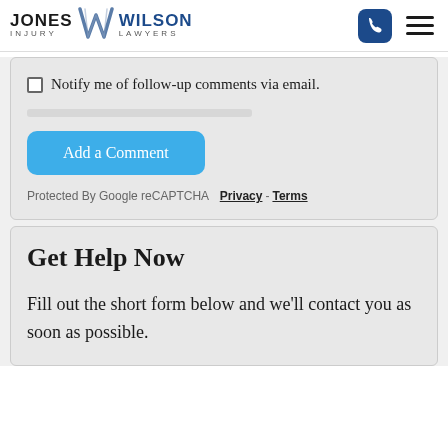JONES INJURY LAWYERS W WILSON LAWYERS
Notify me of follow-up comments via email.
Add a Comment
Protected By Google reCAPTCHA  Privacy - Terms
Get Help Now
Fill out the short form below and we'll contact you as soon as possible.